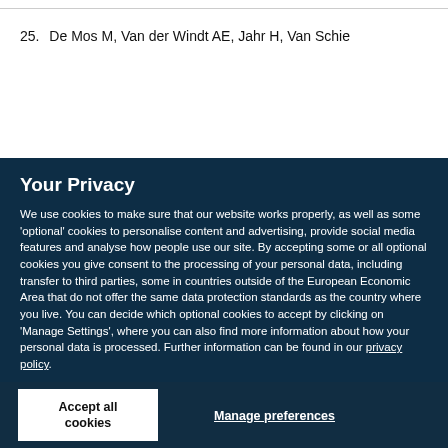25. De Mos M, Van der Windt AE, Jahr H, Van Schie
Your Privacy
We use cookies to make sure that our website works properly, as well as some 'optional' cookies to personalise content and advertising, provide social media features and analyse how people use our site. By accepting some or all optional cookies you give consent to the processing of your personal data, including transfer to third parties, some in countries outside of the European Economic Area that do not offer the same data protection standards as the country where you live. You can decide which optional cookies to accept by clicking on 'Manage Settings', where you can also find more information about how your personal data is processed. Further information can be found in our privacy policy.
Accept all cookies
Manage preferences